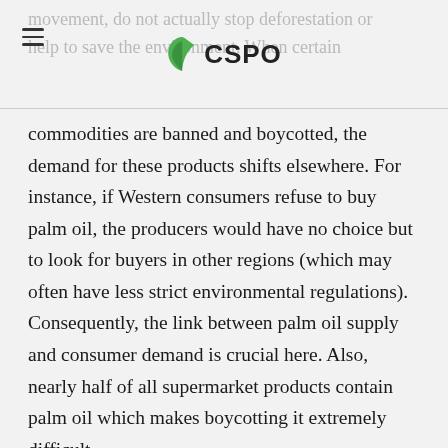CSPO
movement, do not actually stop deforestation or help to save the environment. When certain commodities are banned and boycotted, the demand for these products shifts elsewhere. For instance, if Western consumers refuse to buy palm oil, the producers would have no choice but to look for buyers in other regions (which may often have less strict environmental regulations). Consequently, the link between palm oil supply and consumer demand is crucial here. Also, nearly half of all supermarket products contain palm oil which makes boycotting it extremely difficult.